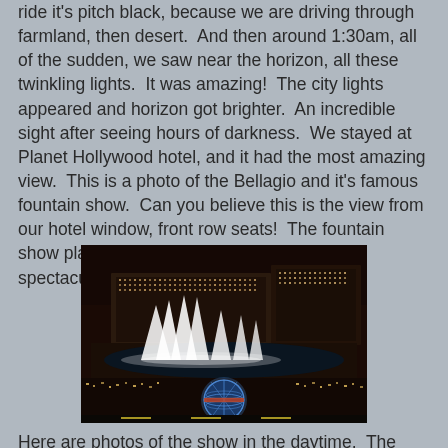ride it's pitch black, because we are driving through farmland, then desert.  And then around 1:30am, all of the sudden, we saw near the horizon, all these twinkling lights.  It was amazing!  The city lights appeared and horizon got brighter.  An incredible sight after seeing hours of darkness.  We stayed at Planet Hollywood hotel, and it had the most amazing view.  This is a photo of the Bellagio and it's famous fountain show.  Can you believe this is the view from our hotel window, front row seats!  The fountain show plays every 15 minutes and is pretty spectacular.
[Figure (photo): Night aerial view of the Bellagio hotel and fountain show in Las Vegas, with illuminated fountains spraying water and a glowing globe structure in the foreground.]
Here are photos of the show in the daytime.  The fountain is